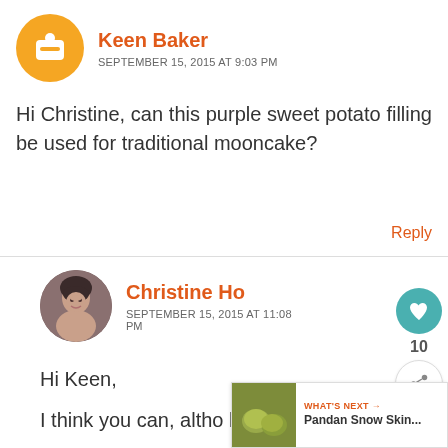Keen Baker
SEPTEMBER 15, 2015 AT 9:03 PM
Hi Christine, can this purple sweet potato filling be used for traditional mooncake?
Reply
Christine Ho
SEPTEMBER 15, 2015 AT 11:08 PM
Hi Keen,
I think you can, altho haven't tried it.
[Figure (other): WHAT'S NEXT banner with Pandan Snow Skin... text and green mooncake image]